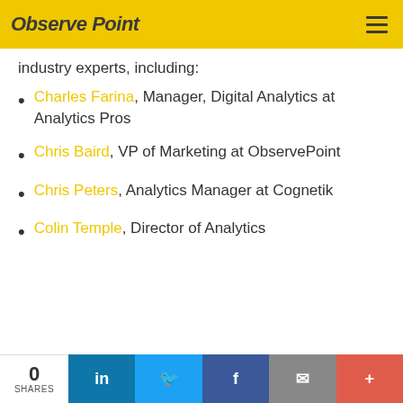ObservePoint
industry experts, including:
Charles Farina, Manager, Digital Analytics at Analytics Pros
Chris Baird, VP of Marketing at ObservePoint
Chris Peters, Analytics Manager at Cognetik
Colin Temple, Director of Analytics
0 SHARES | LinkedIn | Twitter | Facebook | Email | More